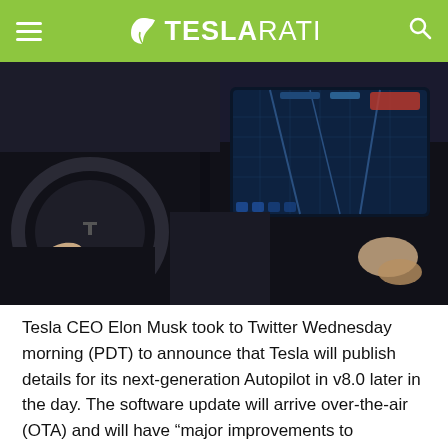TESLARATI
[Figure (photo): Interior view of a Tesla vehicle showing the driver's hands on the steering wheel, the large central touchscreen display showing an interface, and a passenger's hands visible on the right side, taken in low light.]
Tesla CEO Elon Musk took to Twitter Wednesday morning (PDT) to announce that Tesla will publish details for its next-generation Autopilot in v8.0 later in the day. The software update will arrive over-the-air (OTA) and will have “major improvements to Autopilot” through the use of “advanced processing of radar signals” according to Musk.